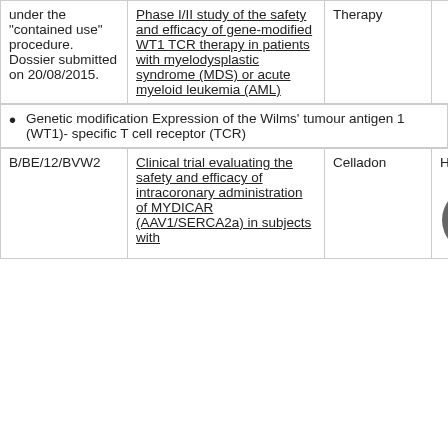|  | Description | Sponsor | Subjects |
| --- | --- | --- | --- |
| under the "contained use" procedure. Dossier submitted on 20/08/2015. | Phase I/II study of the safety and efficacy of gene-modified WT1 TCR therapy in patients with myelodysplastic syndrome (MDS) or acute myeloid leukemia (AML) | Therapy |  |
Genetic modification Expression of the Wilms' tumour antigen 1 (WT1)- specific T cell receptor (TCR)
| ID | Description | Sponsor | Subjects |
| --- | --- | --- | --- |
| B/BE/12/BVW2 | Clinical trial evaluating the safety and efficacy of intracoronary administration of MYDICAR (AAV1/SERCA2a) in subjects with | Celladon | Humans |